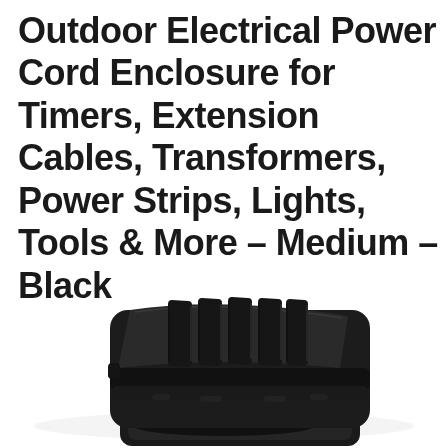Outdoor Electrical Power Cord Enclosure for Timers, Extension Cables, Transformers, Power Strips, Lights, Tools & More – Medium – Black
[Figure (photo): Product photo of a black outdoor electrical power cord enclosure/box, shown from two angles: top view showing the closed lid with ribbed/slotted top surface and rounded rectangular shape, and a partial view of the open base below]